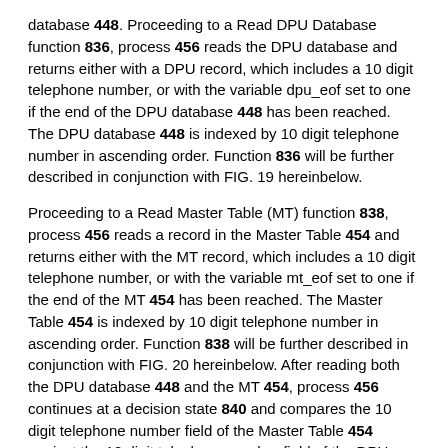database 448. Proceeding to a Read DPU Database function 836, process 456 reads the DPU database and returns either with a DPU record, which includes a 10 digit telephone number, or with the variable dpu_eof set to one if the end of the DPU database 448 has been reached. The DPU database 448 is indexed by 10 digit telephone number in ascending order. Function 836 will be further described in conjunction with FIG. 19 hereinbelow.
Proceeding to a Read Master Table (MT) function 838, process 456 reads a record in the Master Table 454 and returns either with the MT record, which includes a 10 digit telephone number, or with the variable mt_eof set to one if the end of the MT 454 has been reached. The Master Table 454 is indexed by 10 digit telephone number in ascending order. Function 838 will be further described in conjunction with FIG. 20 hereinbelow. After reading both the DPU database 448 and the MT 454, process 456 continues at a decision state 840 and compares the 10 digit telephone number field of the Master Table 454 against the 10 digit telephone number field of the DPU database 448. If the telephone numbers are equal, process 456 moves to state 842 to update the current MT record in